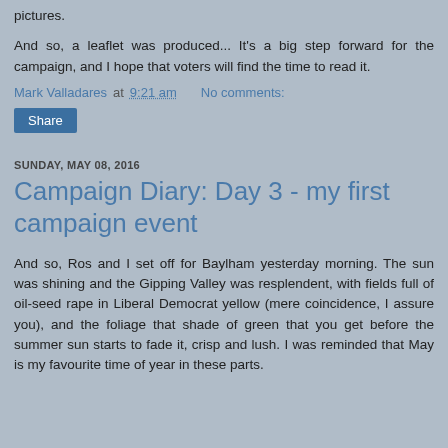pictures.
And so, a leaflet was produced... It's a big step forward for the campaign, and I hope that voters will find the time to read it.
Mark Valladares at 9:21 am   No comments:
Share
SUNDAY, MAY 08, 2016
Campaign Diary: Day 3 - my first campaign event
And so, Ros and I set off for Baylham yesterday morning. The sun was shining and the Gipping Valley was resplendent, with fields full of oil-seed rape in Liberal Democrat yellow (mere coincidence, I assure you), and the foliage that shade of green that you get before the summer sun starts to fade it, crisp and lush. I was reminded that May is my favourite time of year in these parts.